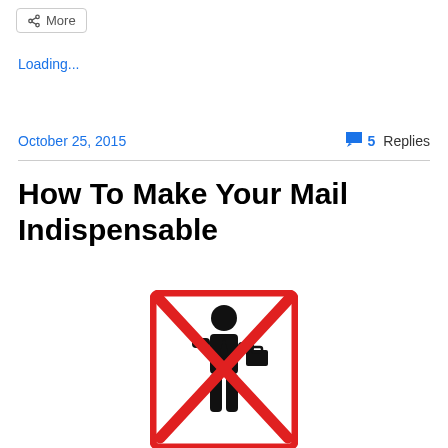More
Loading...
October 25, 2015    💬 5 Replies
How To Make Your Mail Indispensable
[Figure (illustration): A 'no person' prohibition sign: a stick figure person in business attire crossed out with a large red X, inside a red-bordered rectangle.]